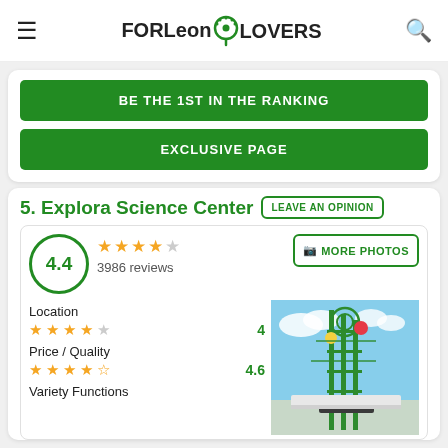FORLeon LOVERS (logo with navigation)
BE THE 1ST IN THE RANKING
EXCLUSIVE PAGE
5. Explora Science Center
LEAVE AN OPINION
4.4 — 3986 reviews
MORE PHOTOS
Location
4
Price / Quality
4.6
Variety Functions
[Figure (photo): Outdoor science center structure with green metal framework against sky]